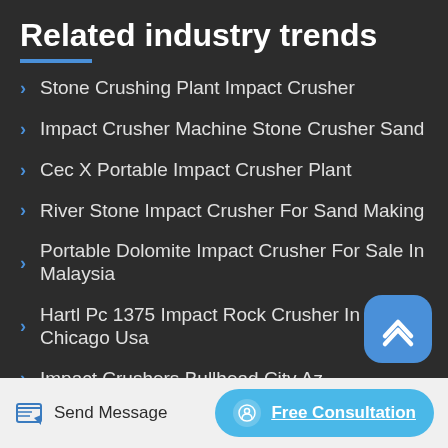Related industry trends
Stone Crushing Plant Impact Crusher
Impact Crusher Machine Stone Crusher Sand
Cec X Portable Impact Crusher Plant
River Stone Impact Crusher For Sand Making
Portable Dolomite Impact Crusher For Sale In Malaysia
Hartl Pc 1375 Impact Rock Crusher In Chicago Usa
Impact Crushers Bullhead City Az
Crusher China Stone Crusher Impact Crusher 400…
Send Message
Free Consultation